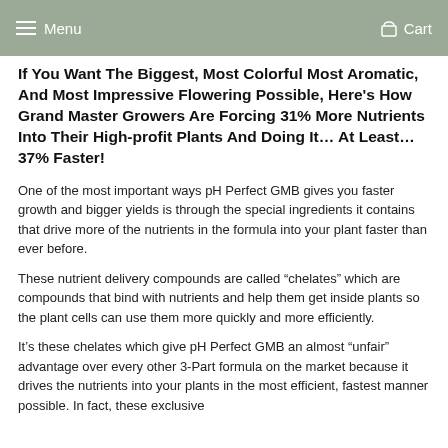Menu   Cart
If You Want The Biggest, Most Colorful Most Aromatic, And Most Impressive Flowering Possible, Here's How Grand Master Growers Are Forcing 31% More Nutrients Into Their High-profit Plants And Doing It... At Least... 37% Faster!
One of the most important ways pH Perfect GMB gives you faster growth and bigger yields is through the special ingredients it contains that drive more of the nutrients in the formula into your plant faster than ever before.
These nutrient delivery compounds are called “chelates” which are compounds that bind with nutrients and help them get inside plants so the plant cells can use them more quickly and more efficiently.
It’s these chelates which give pH Perfect GMB an almost “unfair” advantage over every other 3-Part formula on the market because it drives the nutrients into your plants in the most efficient, fastest manner possible. In fact, these exclusive